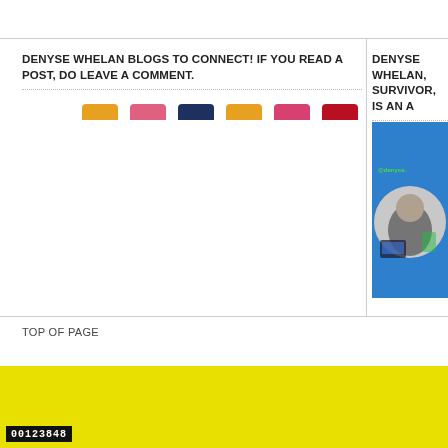DENYSE WHELAN BLOGS TO CONNECT! IF YOU READ A POST, DO LEAVE A COMMENT.
DENYSE WHELAN, SURVIVOR, IS AN A
[Figure (illustration): Row of six colorful rounded tab shapes in orange, pink, dark navy, orange, pink, and red]
[Figure (photo): Photo of person on blue background with circular crop and @denyse text overlay]
TOP OF PAGE